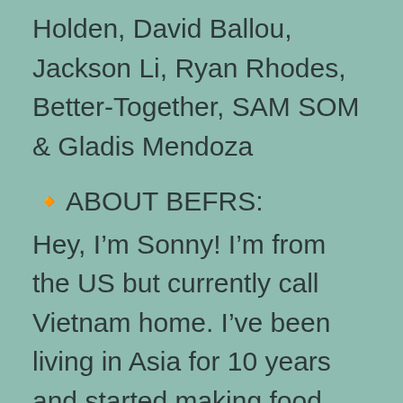Holden, David Ballou, Jackson Li, Ryan Rhodes, Better-Together, SAM SOM & Gladis Mendoza
🔸ABOUT BEFRS:
Hey, I'm Sonny! I'm from the US but currently call Vietnam home. I've been living in Asia for 10 years and started making food and travel videos to document my experiences. I travel to different parts of the world, hunting down and documenting the most unique food each country has to offer.
If you see any factual food errors in my videos, please feel free to politely let me know in the